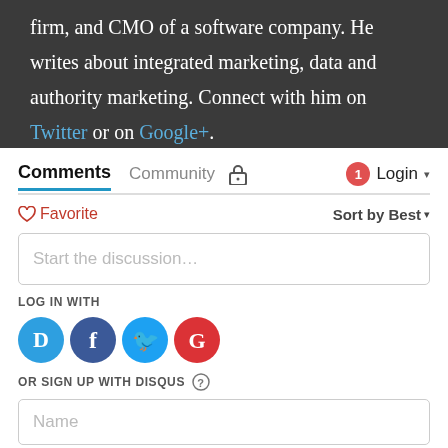firm, and CMO of a software company. He writes about integrated marketing, data and authority marketing. Connect with him on Twitter or on Google+.
Comments  Community  [lock icon]  [1] Login ▾
♡ Favorite    Sort by Best ▾
Start the discussion…
LOG IN WITH
[Figure (infographic): Four social login icons: Disqus (blue circle with D), Facebook (dark blue circle with f), Twitter (cyan circle with bird), Google (red circle with G)]
OR SIGN UP WITH DISQUS ?
Name